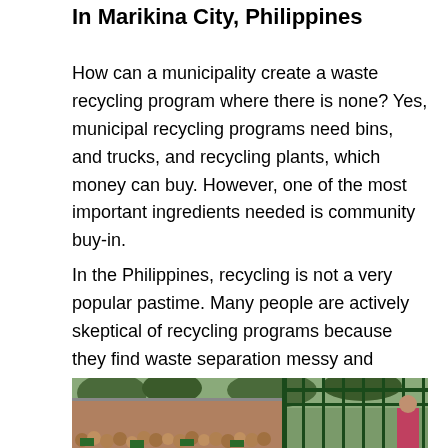In Marikina City, Philippines
How can a municipality create a waste recycling program where there is none? Yes, municipal recycling programs need bins, and trucks, and recycling plants, which money can buy. However, one of the most important ingredients needed is community buy-in.
In the Philippines, recycling is not a very popular pastime. Many people are actively skeptical of recycling programs because they find waste separation messy and difficult. Recycling programs are often temporary, and what’s the point anyway?
[Figure (photo): A crowd of children and people gathered outdoors near a green fence, in Marikina City, Philippines. Trees and buildings visible in the background.]